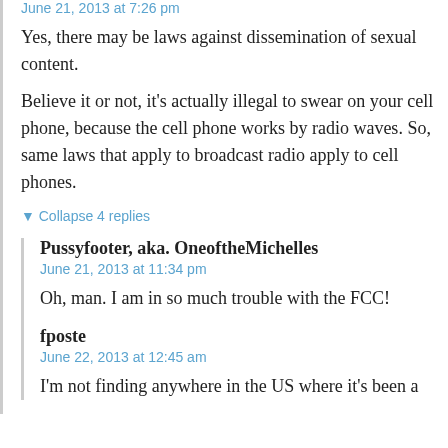June 21, 2013 at 7:26 pm
Yes, there may be laws against dissemination of sexual content.
Believe it or not, it’s actually illegal to swear on your cell phone, because the cell phone works by radio waves. So, same laws that apply to broadcast radio apply to cell phones.
▼ Collapse 4 replies
Pussyfooter, aka. OneoftheMichelles
June 21, 2013 at 11:34 pm
Oh, man. I am in so much trouble with the FCC!
fposte
June 22, 2013 at 12:45 am
I’m not finding anywhere in the US where it’s been a